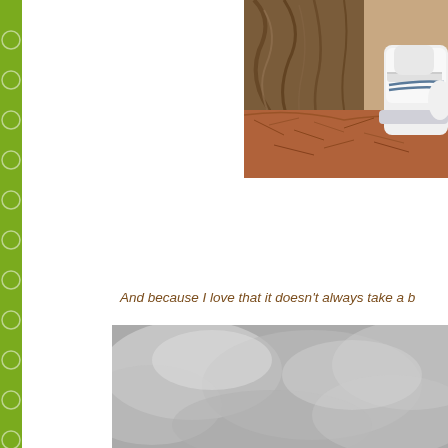[Figure (photo): Outdoor nature scene showing a white sneaker/shoe near a tree bark with pine needles on the ground]
And because I love that it doesn't always take a b
[Figure (photo): Black and white photo of clouds or soft gray textured surface]